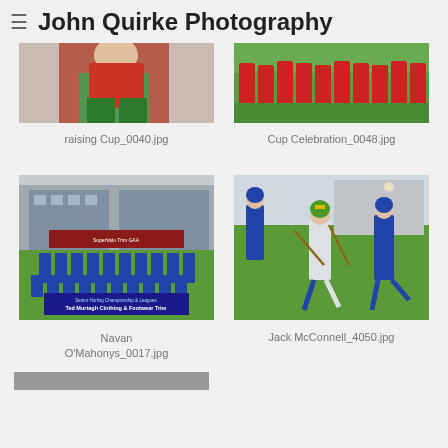John Quirke Photography
[Figure (photo): Partial view of a hurling player in red jersey — raising Cup_0040.jpg]
raising Cup_0040.jpg
[Figure (photo): Group photo of hurling team celebrating — Cup Celebration_0048.jpg]
Cup Celebration_0048.jpg
[Figure (photo): Navan O'Mahonys hurling team posed for photo with banner — Navan O'Mahonys_0017.jpg]
Navan O'Mahonys_0017.jpg
[Figure (photo): Two hurling players running with hurleys during match — Jack McConnell_4050.jpg]
Jack McConnell_4050.jpg
[Figure (photo): Partially visible photo at the bottom of the page]